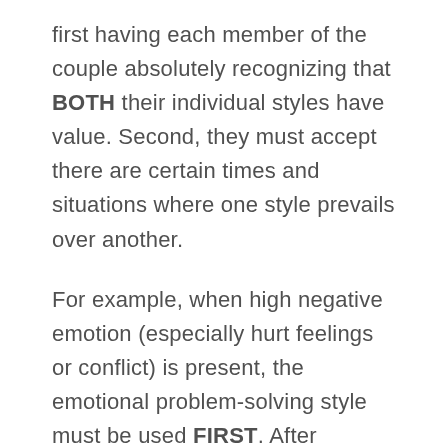first having each member of the couple absolutely recognizing that BOTH their individual styles have value. Second, they must accept there are certain times and situations where one style prevails over another.

For example, when high negative emotion (especially hurt feelings or conflict) is present, the emotional problem-solving style must be used FIRST. After emotions have calmed down, then and only then is it even possible to use rational problem-